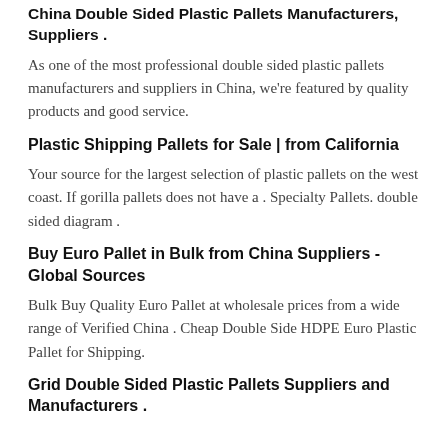China Double Sided Plastic Pallets Manufacturers, Suppliers .
As one of the most professional double sided plastic pallets manufacturers and suppliers in China, we're featured by quality products and good service.
Plastic Shipping Pallets for Sale | from California
Your source for the largest selection of plastic pallets on the west coast. If gorilla pallets does not have a . Specialty Pallets. double sided diagram .
Buy Euro Pallet in Bulk from China Suppliers - Global Sources
Bulk Buy Quality Euro Pallet at wholesale prices from a wide range of Verified China . Cheap Double Side HDPE Euro Plastic Pallet for Shipping.
Grid Double Sided Plastic Pallets Suppliers and Manufacturers .